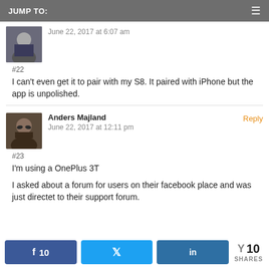JUMP TO:
June 22, 2017 at 6:07 am
#22
I can't even get it to pair with my S8. It paired with iPhone but the app is unpolished.
Anders Majland
June 22, 2017 at 12:11 pm
#23
I'm using a OnePlus 3T
I asked about a forum for users on their facebook place and was just directet to their support forum.
10  SHARES